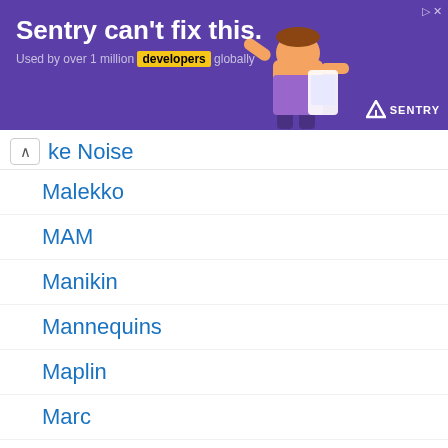[Figure (other): Advertisement banner: purple background with text 'Sentry can't fix this.' and subtext 'Used by over 1 million developers globally', with cartoon illustration and Sentry logo]
Make Noise
Malekko
MAM
Manikin
Mannequins
Maplin
Marc
MarcMarc
Marion Systems
Matrix 1000
Matrix 12